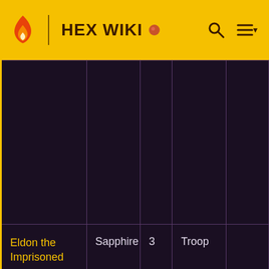HEX WIKI
|  |  |  |  |  |
| --- | --- | --- | --- | --- |
|  |  |  |  |  |
| Eldon the Imprisoned | Sapphire | 3 | Troop |  |